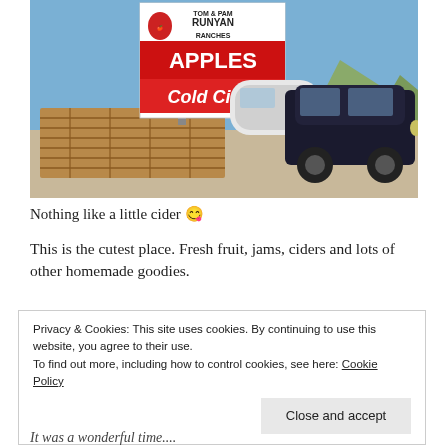[Figure (photo): Outdoor roadside stand with a large sign reading 'Tom & Pam Runyan Ranches APPLES Cold Cider'. Wooden pallet crates in front, a white camper trailer and a dark SUV parked behind. Mountains and blue sky in background.]
Nothing like a little cider 😊
This is the cutest place. Fresh fruit, jams, ciders and lots of other homemade goodies.
Privacy & Cookies: This site uses cookies. By continuing to use this website, you agree to their use.
To find out more, including how to control cookies, see here: Cookie Policy
It was a wonderful time....